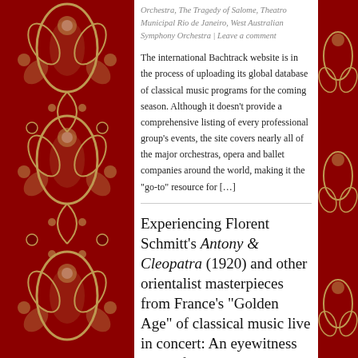Orchestra, The Tragedy of Salome, Theatro Municipal Rio de Janeiro, West Australian Symphony Orchestra | Leave a comment
The international Bachtrack website is in the process of uploading its global database of classical music programs for the coming season. Although it doesn't provide a comprehensive listing of every professional group's events, the site covers nearly all of the major orchestras, opera and ballet companies around the world, making it the “go-to” resource for [...]
Experiencing Florent Schmitt’s Antony & Cleopatra (1920) and other orientalist masterpieces from France’s “Golden Age” of classical music live in concert: An eyewitness report from Paris.